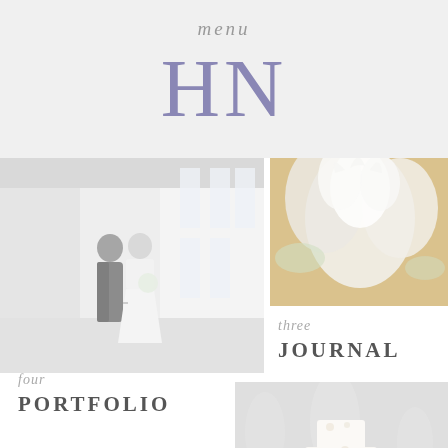menu
HN
[Figure (photo): Wedding couple (bride and groom) walking hand in hand down a bright corridor with large windows]
[Figure (photo): Close-up of white and cream wedding flowers, soft focus]
three
JOURNAL
four
PORTFOLIO
[Figure (photo): Close-up of a white wedding cake with delicate floral decorations, soft background]